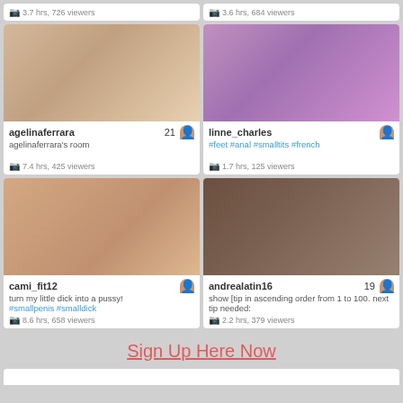3.7 hrs, 726 viewers
3.6 hrs, 684 viewers
[Figure (photo): Webcam thumbnail of agelinaferrara]
agelinaferrara  21
agelinaferrara's room
7.4 hrs, 425 viewers
[Figure (photo): Webcam thumbnail of linne_charles]
linne_charles
#feet #anal #smalltits #french
1.7 hrs, 125 viewers
[Figure (photo): Webcam thumbnail of cami_fit12]
cami_fit12
turn my little dick into a pussy! #smallpenis #smalldick
8.6 hrs, 658 viewers
[Figure (photo): Webcam thumbnail of andrealatin16]
andrealatin16  19
show [tip in ascending order from 1 to 100. next tip needed:
2.2 hrs, 379 viewers
Sign Up Here Now